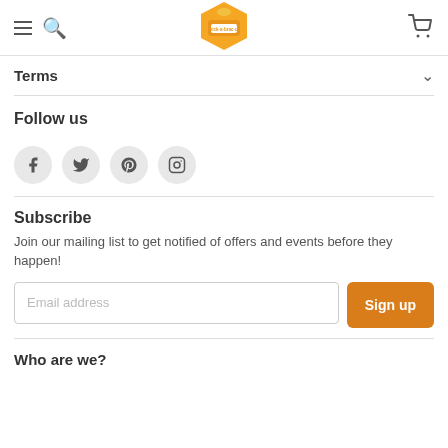brick-a-brac-uk navigation header with hamburger, search, logo, and cart
Terms
Follow us
[Figure (other): Social media icons: Facebook, Twitter, Pinterest, Instagram in grey circles]
Subscribe
Join our mailing list to get notified of offers and events before they happen!
Who are we?